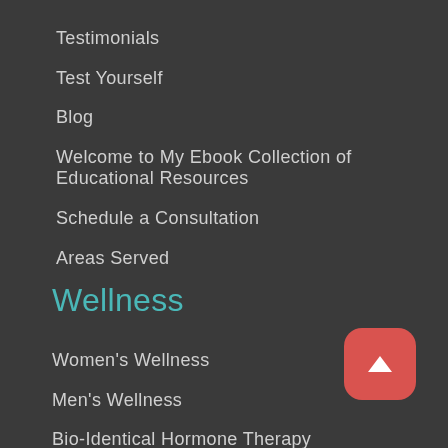Testimonials
Test Yourself
Blog
Welcome to My Ebook Collection of Educational Resources
Schedule a Consultation
Areas Served
Wellness
Women's Wellness
Men's Wellness
Bio-Identical Hormone Therapy